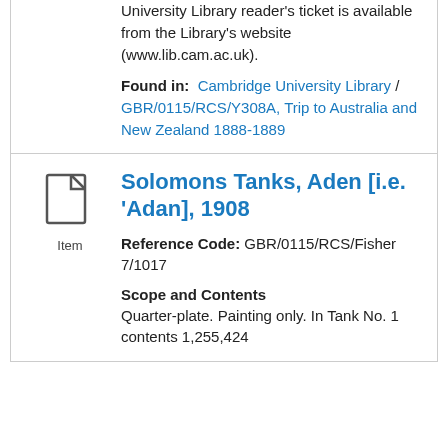University Library reader's ticket is available from the Library's website (www.lib.cam.ac.uk).
Found in: Cambridge University Library / GBR/0115/RCS/Y308A, Trip to Australia and New Zealand 1888-1889
[Figure (illustration): Document/item icon (page with folded corner)]
Item
Solomons Tanks, Aden [i.e. 'Adan], 1908
Reference Code: GBR/0115/RCS/Fisher 7/1017
Scope and Contents
Quarter-plate. Painting only. In Tank No. 1 contents 1,255,424